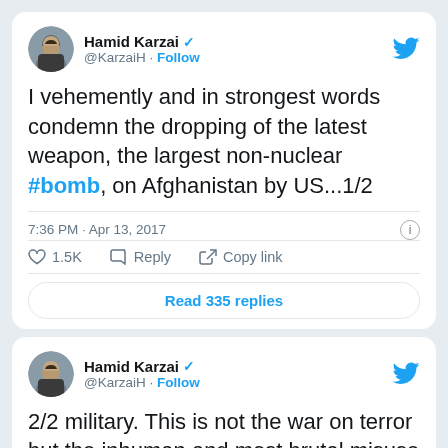[Figure (screenshot): Tweet card 1: Hamid Karzai (@KarzaiH) verified tweet reading 'I vehemently and in strongest words condemn the dropping of the latest weapon, the largest non-nuclear #bomb, on Afghanistan by US...1/2' posted at 7:36 PM · Apr 13, 2017. Shows 1.5K likes, Reply and Copy link actions, and a 'Read 335 replies' button.]
[Figure (screenshot): Tweet card 2: Hamid Karzai (@KarzaiH) verified tweet beginning '2/2 military. This is not the war on terror but the inhuman and most brutal misuse of']